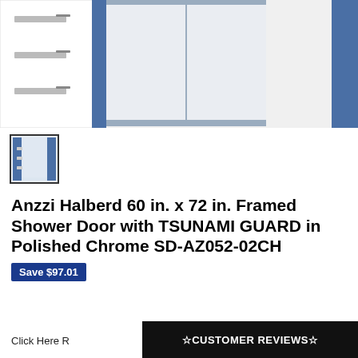[Figure (photo): Product photo of Anzzi Halberd framed shower door with blue frame and glass panels, partial view cropped at top]
[Figure (photo): Small thumbnail image of the same shower door product]
Anzzi Halberd 60 in. x 72 in. Framed Shower Door with TSUNAMI GUARD in Polished Chrome SD-AZ052-02CH
Save $97.01
Click Here R
☆CUSTOMER REVIEWS☆